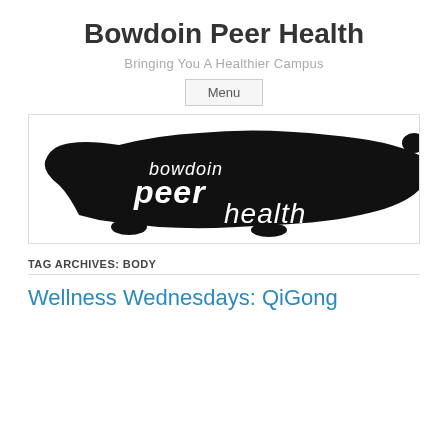Bowdoin Peer Health
Bringing You A Healthier Campus
Menu
[Figure (logo): Bowdoin Peer Health logo: black silhouette of a polar bear with white text reading 'bowdoin peer health']
TAG ARCHIVES: BODY
Wellness Wednesdays: QiGong